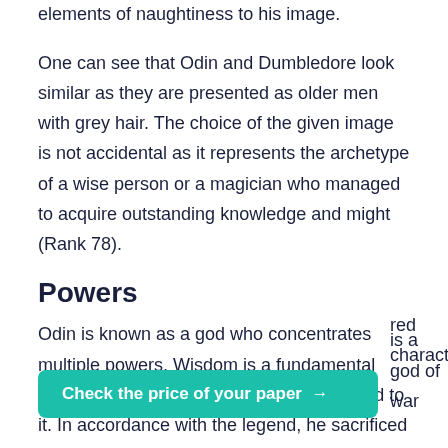elements of naughtiness to his image.
One can see that Odin and Dumbledore look similar as they are presented as older men with grey hair. The choice of the given image is not accidental as it represents the archetype of a wise person or a magician who managed to acquire outstanding knowledge and might (Rank 78).
Powers
Odin is known as a god who concentrates multiple powers. Wisdom is a fundamental trait of this god, as there are myths devoted to it. In accordance with the legend, he sacrificed his eye to Mimir in return for wisdom (Gaiman 67). It demonstrates the importance of this revered character … is a god of war
Check the price of your paper →